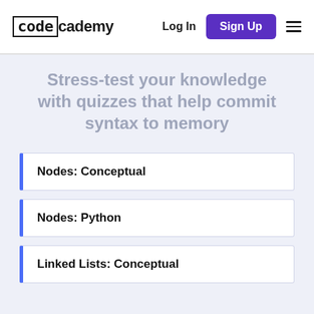codecademy — Log In | Sign Up
Stress-test your knowledge with quizzes that help commit syntax to memory
Nodes: Conceptual
Nodes: Python
Linked Lists: Conceptual